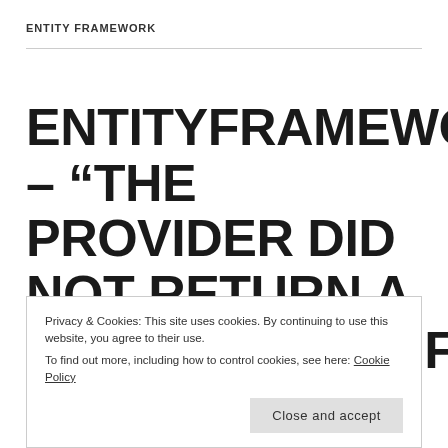ENTITY FRAMEWORK
ENTITYFRAMEWORK – “THE PROVIDER DID NOT RETURN A PROVIDERMANIFEST INSTANCE”
Privacy & Cookies: This site uses cookies. By continuing to use this website, you agree to their use.
To find out more, including how to control cookies, see here: Cookie Policy